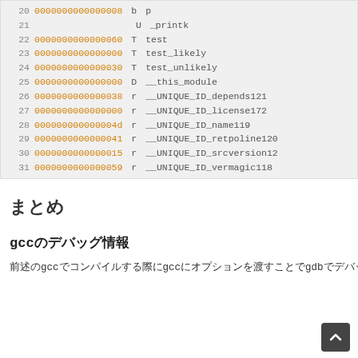| Line | Address | Type | Symbol |
| --- | --- | --- | --- |
| 20 | 0000000000000008 | b | p |
| 21 |  | U | _printk |
| 22 | 0000000000000060 | T | test |
| 23 | 0000000000000000 | T | test_likely |
| 24 | 0000000000000030 | T | test_unlikely |
| 25 | 0000000000000000 | D | __this_module |
| 26 | 0000000000000038 | r | __UNIQUE_ID_depends121 |
| 27 | 0000000000000000 | r | __UNIQUE_ID_license172 |
| 28 | 000000000000004d | r | __UNIQUE_ID_name119 |
| 29 | 0000000000000041 | r | __UNIQUE_ID_retpoline120 |
| 30 | 0000000000000015 | r | __UNIQUE_ID_srcversion12 |
| 31 | 0000000000000059 | r | __UNIQUE_ID_vermagic118 |
まとめ
gccのデバッグ情報
前述のgccでコンパイルする際にgccにオプションを渡すことでgdbでデバッグするためのgccのsymbol情報